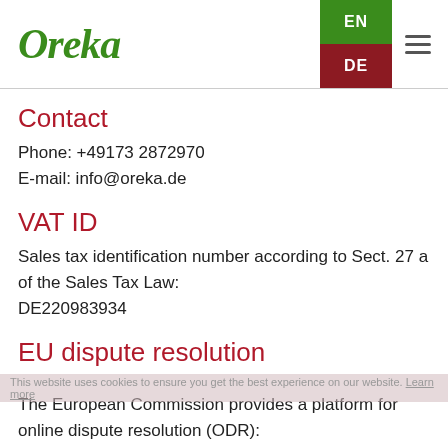Oreka — EN / DE language selector header
Contact
Phone: +49173 2872970
E-mail: info@oreka.de
VAT ID
Sales tax identification number according to Sect. 27 a of the Sales Tax Law:
DE220983934
EU dispute resolution
The European Commission provides a platform for online dispute resolution (ODR):
https://ec.europa.eu/consumers/odr.
Our e-mail address can be found above in the site notice.